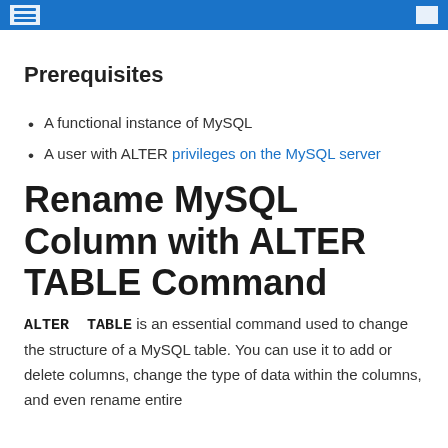Prerequisites
A functional instance of MySQL
A user with ALTER privileges on the MySQL server
Rename MySQL Column with ALTER TABLE Command
ALTER TABLE is an essential command used to change the structure of a MySQL table. You can use it to add or delete columns, change the type of data within the columns, and even rename entire